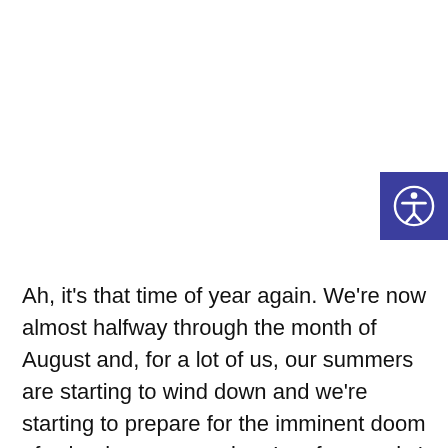[Figure (logo): Accessibility icon button — white person figure in a circle on a dark blue/indigo square background]
Ah, it's that time of year again. We're now almost halfway through the month of August and, for a lot of us, our summers are starting to wind down and we're starting to prepare for the imminent doom of school recommencing. In a few weeks' time, I will officially be a 5th year student, and my days of TY tomfoolery will be over forever.